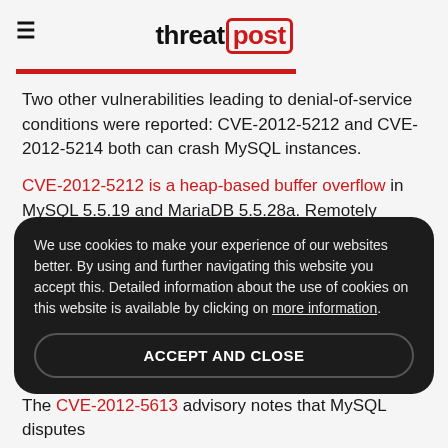threatpost
Two other vulnerabilities leading to denial-of-service conditions were reported: CVE-2012-5212 and CVE-2012-5214 both can crash MySQL instances.
CVE-2012-5212 is a heap-based buffer overflow in MySQL 5.5.19 and MariaDB 5.5.28a. Remotely authenticated users can cause memory corruption and crash the database using variations on a number of commands. CVE-2012-5614, meanwhile, also impacts
We use cookies to make your experience of our websites better. By using and further navigating this website you accept this. Detailed information about the use of cookies on this website is available by clicking on more information.
ACCEPT AND CLOSE
The CVE-2012-5613 advisory notes that MySQL disputes